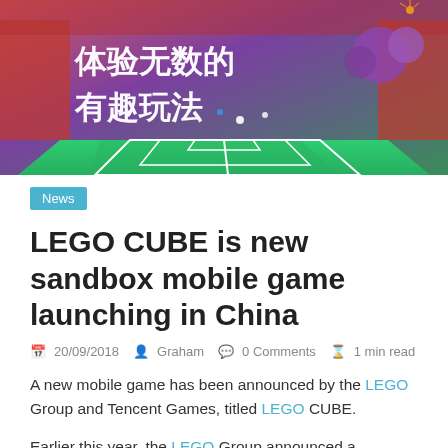[Figure (illustration): Hero banner image showing a LEGO-style soccer field from an isometric view with Chinese text reading '体验无数的有趣玩法' (Experience countless fun ways to play). Colorful crowd, purple trees, and bright green pitch visible.]
News
LEGO CUBE is new sandbox mobile game launching in China
20/09/2018  Graham  0 Comments  1 min read
A new mobile game has been announced by the LEGO Group and Tencent Games, titled LEGO CUBE.
Earlier this year, the LEGO Group announced a partnership with Chinese company Tencent as the Danish powerhouse aims to increase its sales in